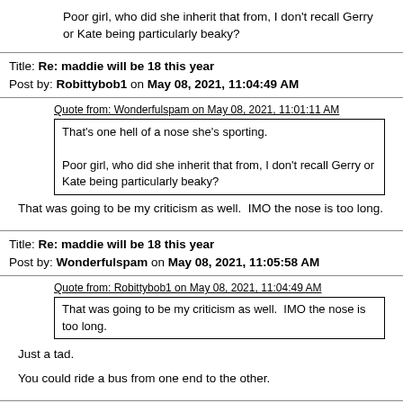Poor girl, who did she inherit that from, I don't recall Gerry or Kate being particularly beaky?
Title: Re: maddie will be 18 this year
Post by: Robittybob1 on May 08, 2021, 11:04:49 AM
Quote from: Wonderfulspam on May 08, 2021, 11:01:11 AM
That's one hell of a nose she's sporting.
Poor girl, who did she inherit that from, I don't recall Gerry or Kate being particularly beaky?
That was going to be my criticism as well.  IMO the nose is too long.
Title: Re: maddie will be 18 this year
Post by: Wonderfulspam on May 08, 2021, 11:05:58 AM
Quote from: Robittybob1 on May 08, 2021, 11:04:49 AM
That was going to be my criticism as well.  IMO the nose is too long.
Just a tad.
You could ride a bus from one end to the other.
Title: Re: maddie will be 18 this year
Post by: barrier on May 08, 2021, 12:55:46 PM